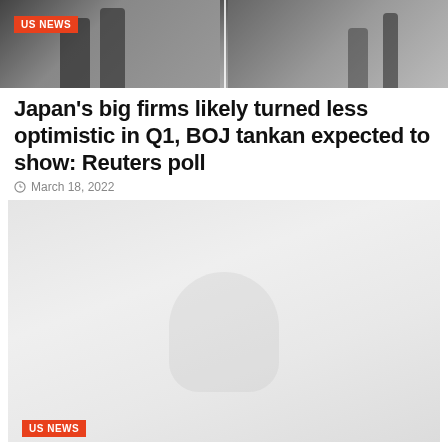[Figure (photo): Black and white photo of people walking, split into two panels at top of page]
US NEWS
Japan's big firms likely turned less optimistic in Q1, BOJ tankan expected to show: Reuters poll
March 18, 2022
[Figure (photo): Light gray faded photo, likely of a person or scene, with US NEWS badge at bottom left]